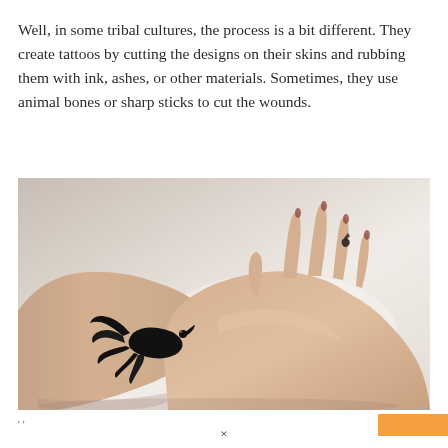Well, in some tribal cultures, the process is a bit different. They create tattoos by cutting the designs on their skins and rubbing them with ink, ashes, or other materials. Sometimes, they use animal bones or sharp sticks to cut the wounds.
[Figure (photo): Two hands resting on a light-colored surface. One hand has a black tattoo of a bird on the wrist/back of the hand area, and what appears to be a small tattoo on one finger.]
' '